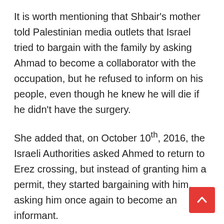It is worth mentioning that Shbair's mother told Palestinian media outlets that Israel tried to bargain with the family by asking Ahmad to become a collaborator with the occupation, but he refused to inform on his people, even though he knew he will die if he didn't have the surgery.
She added that, on October 10th, 2016, the Israeli Authorities asked Ahmed to return to Erez crossing, but instead of granting him a permit, they started bargaining with him, asking him once again to become an informant.
His father said that the soldiers at Erez terminal stripped his son, and threw all of his medications and food, and forced him to wait